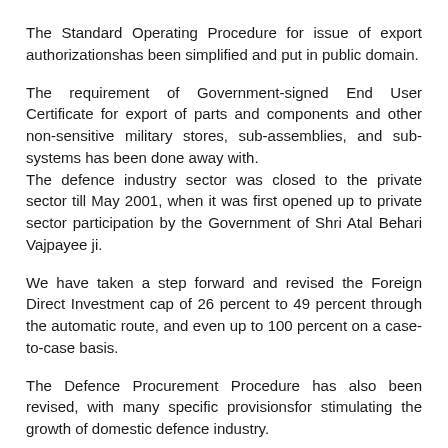The Standard Operating Procedure for issue of export authorizationshas been simplified and put in public domain.
The requirement of Government-signed End User Certificate for export of parts and components and other non-sensitive military stores, sub-assemblies, and sub-systems has been done away with.
The defence industry sector was closed to the private sector till May 2001, when it was first opened up to private sector participation by the Government of Shri Atal Behari Vajpayee ji.
We have taken a step forward and revised the Foreign Direct Investment cap of 26 percent to 49 percent through the automatic route, and even up to 100 percent on a case-to-case basis.
The Defence Procurement Procedure has also been revised, with many specific provisionsfor stimulating the growth of domestic defence industry.